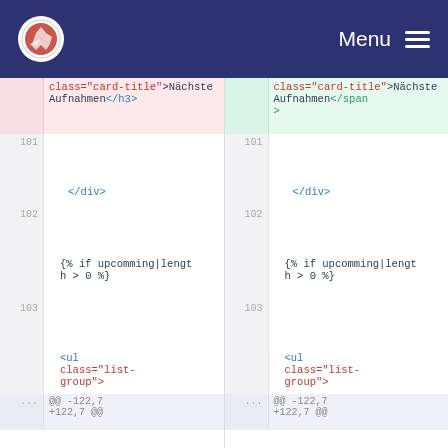Menu
[Figure (screenshot): Two-column code diff view showing HTML template code. Left column (deleted/old) highlighted pink, right column (added/new) highlighted green. Lines 101-103 shown with code: </div>, {% if upcomming|length > 0 %}, <ul class="list-group">. Bottom shows hunk header @@ -122,7 +122,7 @@]